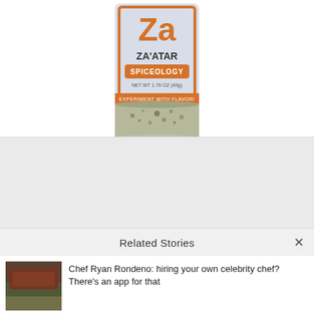[Figure (photo): A Spiceology Za'atar spice jar partially shown, with orange label showing 'Za'atar', 'SPICEOLOGY', NET WT 1.76 OZ (49g), 'EXPERIMENT WITH FLAVOR!' text, and a glass bottom filled with green dried herbs.]
[Figure (photo): Light gray advertisement banner placeholder area.]
Related Stories
[Figure (photo): Thumbnail image of a seasoned piece of meat or fish on a plate.]
Chef Ryan Rondeno: hiring your own celebrity chef? There's an app for that